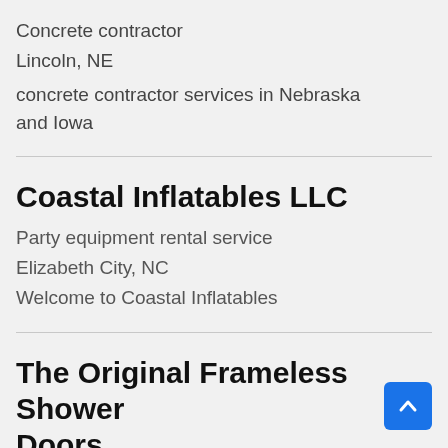Concrete contractor
Lincoln, NE
concrete contractor services in Nebraska and Iowa
Coastal Inflatables LLC
Party equipment rental service
Elizabeth City, NC
Welcome to Coastal Inflatables
The Original Frameless Shower Doors
Shower door shop